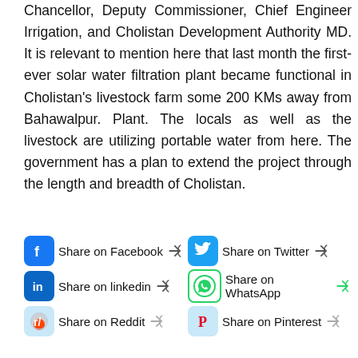Chancellor, Deputy Commissioner, Chief Engineer Irrigation, and Cholistan Development Authority MD. It is relevant to mention here that last month the first-ever solar water filtration plant became functional in Cholistan's livestock farm some 200 KMs away from Bahawalpur. Plant. The locals as well as the livestock are utilizing portable water from here. The government has a plan to extend the project through the length and breadth of Cholistan.
[Figure (infographic): Social media share buttons: Share on Facebook, Share on Twitter, Share on LinkedIn, Share on WhatsApp, Share on Reddit, Share on Pinterest]